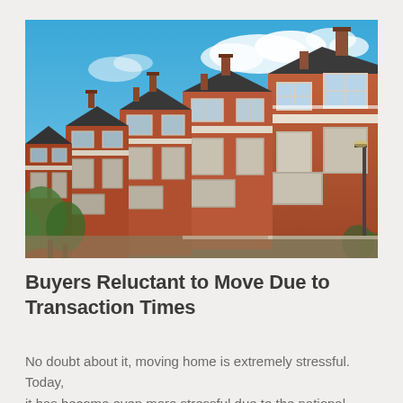[Figure (photo): A row of traditional British Victorian terraced houses with red brick facades, white window frames, bay windows, decorative details, and chimney stacks, photographed against a bright blue sky with white clouds. Green trees are visible at the lower left.]
Buyers Reluctant to Move Due to Transaction Times
No doubt about it, moving home is extremely stressful. Today, it has become even more stressful due to the national shortage